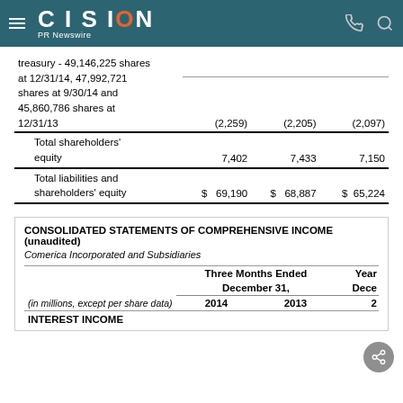CISION PR Newswire
treasury - 49,146,225 shares at 12/31/14, 47,992,721 shares at 9/30/14 and 45,860,786 shares at 12/31/13	(2,259)	(2,205)	(2,097)
|  |  |  |  |
| --- | --- | --- | --- |
| Total shareholders' equity | 7,402 | 7,433 | 7,150 |
| Total liabilities and shareholders' equity | $ 69,190 | $ 68,887 | $ 65,224 |
CONSOLIDATED STATEMENTS OF COMPREHENSIVE INCOME (unaudited)
Comerica Incorporated and Subsidiaries
| (in millions, except per share data) | Three Months Ended December 31, 2014 | Three Months Ended December 31, 2013 | Year Ended Dece... 2... |
| --- | --- | --- | --- |
| INTEREST INCOME |  |  |  |